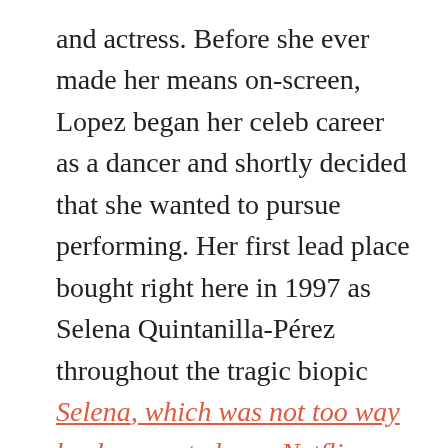and actress. Before she ever made her means on-screen, Lopez began her celeb career as a dancer and shortly decided that she wanted to pursue performing. Her first lead place bought right here in 1997 as Selena Quintanilla-Pérez throughout the tragic biopic Selena, which was not too way back recreated as a Netflix sequence. Lopez went on to star in quite a few roles sooner than launching her singing career collectively along with her debut studio album On the 6, sending a surge of recognition by the Latin movement in America. While Lopez continued to steadiness her performing career collectively along with her musical pursuits